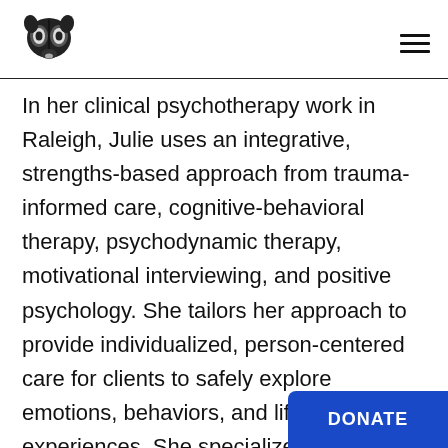[Figure (logo): Black and white brain/head logo icon resembling a stylized corgi or dog face brain illustration]
In her clinical psychotherapy work in Raleigh, Julie uses an integrative, strengths-based approach from trauma-informed care, cognitive-behavioral therapy, psychodynamic therapy, motivational interviewing, and positive psychology. She tailors her approach to provide individualized, person-centered care for clients to safely explore emotions, behaviors, and life experiences. She specializes in helping children, teens, adults, and couples navigate life challenges such as anxiety, OCD, depression, trauma, changes and transitions, acculturation, and identity exploration. Julie is passionate about providing safe healing spaces for individuals with diverse rac